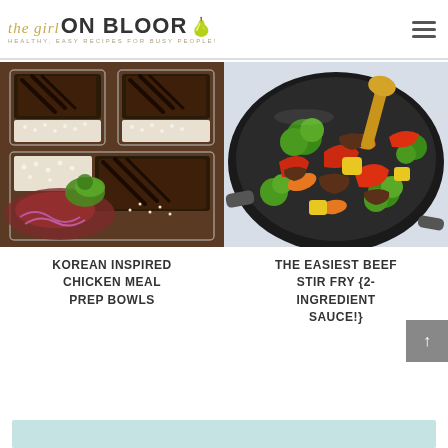the girl ON BLOOR - HEALTHY, EASY RECIPES FOR BUSY PEOPLE!
[Figure (photo): Korean Inspired Chicken Meal Prep Bowls - overhead view of glass meal prep containers with grilled Korean chicken, white rice, purple cabbage slaw and cilantro]
KOREAN INSPIRED CHICKEN MEAL PREP BOWLS
[Figure (photo): The Easiest Beef Stir Fry - close-up of a dark wok with colorful stir fry including broccoli, red bell peppers, carrots, pineapple, and sliced beef with a wooden spoon]
THE EASIEST BEEF STIR FRY {2-INGREDIENT SAUCE!}